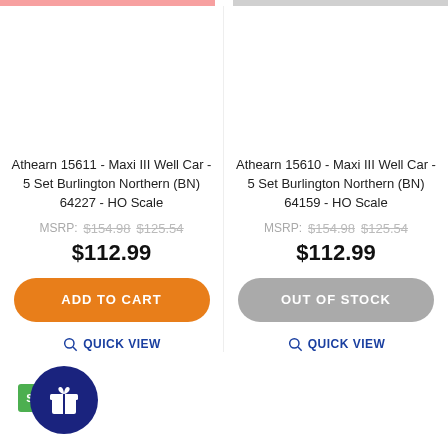Athearn 15611 - Maxi III Well Car - 5 Set Burlington Northern (BN) 64227 - HO Scale
MSRP: $154.98  $125.54
$112.99
ADD TO CART
QUICK VIEW
Athearn 15610 - Maxi III Well Car - 5 Set Burlington Northern (BN) 64159 - HO Scale
MSRP: $154.98  $125.54
$112.99
OUT OF STOCK
QUICK VIEW